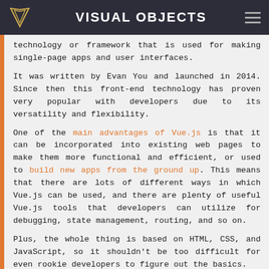VISUAL OBJECTS
technology or framework that is used for making single-page apps and user interfaces.
It was written by Evan You and launched in 2014. Since then this front-end technology has proven very popular with developers due to its versatility and flexibility.
One of the main advantages of Vue.js is that it can be incorporated into existing web pages to make them more functional and efficient, or used to build new apps from the ground up. This means that there are lots of different ways in which Vue.js can be used, and there are plenty of useful Vue.js tools that developers can utilize for debugging, state management, routing, and so on.
Plus, the whole thing is based on HTML, CSS, and JavaScript, so it shouldn't be too difficult for even rookie developers to figure out the basics.
Excellent flexibility